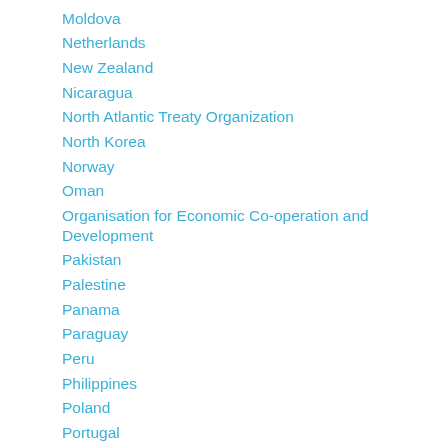Moldova
Netherlands
New Zealand
Nicaragua
North Atlantic Treaty Organization
North Korea
Norway
Oman
Organisation for Economic Co-operation and Development
Pakistan
Palestine
Panama
Paraguay
Peru
Philippines
Poland
Portugal
Puerto Rico
Qatar
Republic of Iceland
Romania
Russia
Saudi Arabia